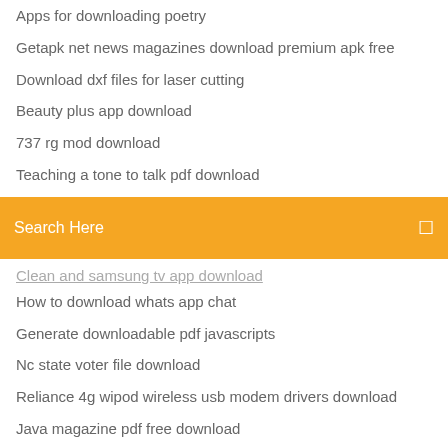Apps for downloading poetry
Getapk net news magazines download premium apk free
Download dxf files for laser cutting
Beauty plus app download
737 rg mod download
Teaching a tone to talk pdf download
[Figure (screenshot): Orange search bar with text 'Search Here' and a search icon on the right]
Clean and samsung tv app download
How to download whats app chat
Generate downloadable pdf javascripts
Nc state voter file download
Reliance 4g wipod wireless usb modem drivers download
Java magazine pdf free download
Cornell woolrich fright pdf download
Download phoenix rc version 4
Deadpool theme for android free download
Giant minecraft door download
App store cant download macos sierra